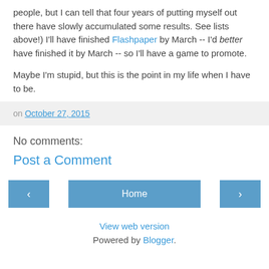people, but I can tell that four years of putting myself out there have slowly accumulated some results. See lists above!) I'll have finished Flashpaper by March -- I'd better have finished it by March -- so I'll have a game to promote.
Maybe I'm stupid, but this is the point in my life when I have to be.
on October 27, 2015
No comments:
Post a Comment
‹ Home › View web version Powered by Blogger.